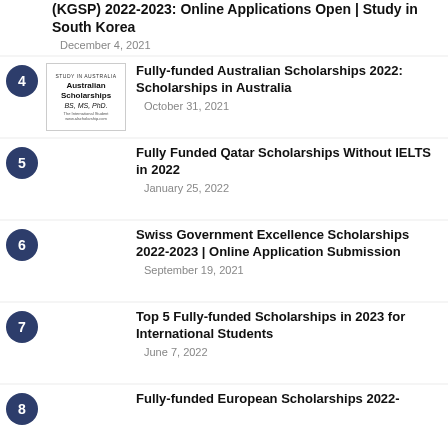(KGSP) 2022-2023: Online Applications Open | Study in South Korea
December 4, 2021
Fully-funded Australian Scholarships 2022: Scholarships in Australia
October 31, 2021
Fully Funded Qatar Scholarships Without IELTS in 2022
January 25, 2022
Swiss Government Excellence Scholarships 2022-2023 | Online Application Submission
September 19, 2021
Top 5 Fully-funded Scholarships in 2023 for International Students
June 7, 2022
Fully-funded European Scholarships 2022-